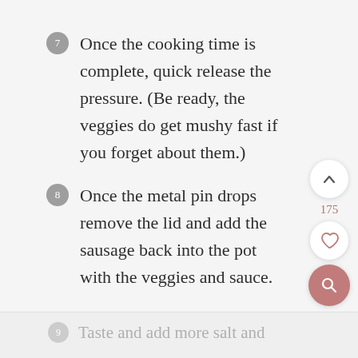7 Once the cooking time is complete, quick release the pressure. (Be ready, the veggies do get mushy fast if you forget about them.)
8 Once the metal pin drops remove the lid and add the sausage back into the pot with the veggies and sauce.
9 Taste and add more salt and